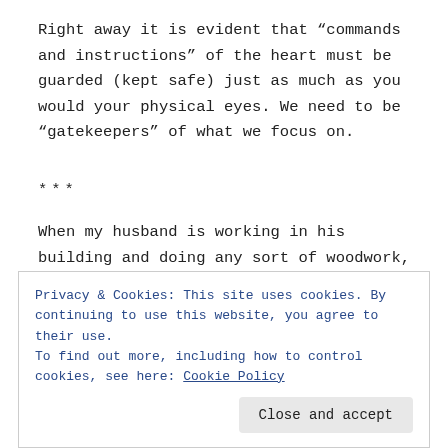Right away it is evident that “commands and instructions” of the heart must be guarded (kept safe) just as much as you would your physical eyes. We need to be “gatekeepers” of what we focus on.
***
When my husband is working in his building and doing any sort of woodwork, he has glasses that protect his eyes. I, on the other hand, do not. So he will usually tell me to step back or put on some protective eyewear. Why? Because those little pieces of wood can get lodged in my eye. Ya
Privacy & Cookies: This site uses cookies. By continuing to use this website, you agree to their use.
To find out more, including how to control cookies, see here: Cookie Policy